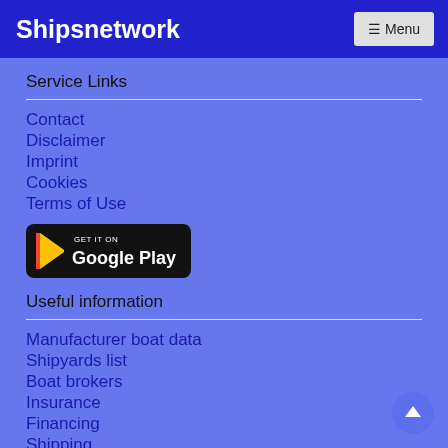Shipsnetwork
Service Links
Contact
Disclaimer
Imprint
Cookies
Terms of Use
[Figure (logo): Get it on Google Play badge]
Useful information
Manufacturer boat data
Shipyards list
Boat brokers
Insurance
Financing
Shipping
Surveyor